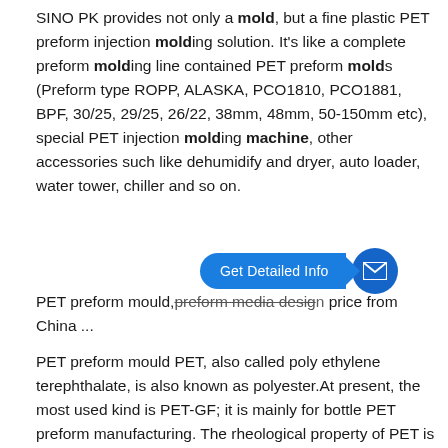SINO PK provides not only a mold, but a fine plastic PET preform injection molding solution. It's like a complete preform molding line contained PET preform molds (Preform type ROPP, ALASKA, PCO1810, PCO1881, BPF, 30/25, 29/25, 26/22, 38mm, 48mm, 50-150mm etc), special PET injection molding machine, other accessories such like dehumidify and dryer, auto loader, water tower, chiller and so on.
[Figure (other): Blue call-to-action button labeled 'Get Detailed Info' with an arrow shape and a blue circular email icon.]
PET preform mould,preform media design price from China ...
PET preform mould PET, also called poly ethylene terephthalate, is also known as polyester.At present, the most used kind is PET-GF; it is mainly for bottle PET preform manufacturing. The rheological property of PET is better in molten state, and the pressure effect on the viscosity is greater than that